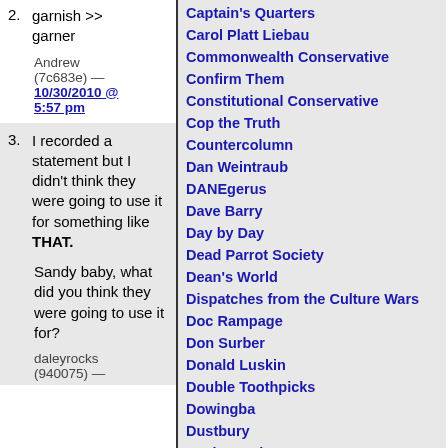2. garnish >> garner
Andrew (7c683e) — 10/30/2010 @ 5:57 pm
3. I recorded a statement but I didn't think they were going to use it for something like THAT.

Sandy baby, what did you think they were going to use it for?

daleyrocks (940075) —
Captain's Quarters
Carol Platt Liebau
Commonwealth Conservative
Confirm Them
Constitutional Conservative
Cop the Truth
Countercolumn
Dan Weintraub
DANEgerus
Dave Barry
Day by Day
Dead Parrot Society
Dean's World
Dispatches from the Culture Wars
Doc Rampage
Don Surber
Donald Luskin
Double Toothpicks
Dowingba
Dustbury
EagleSpeak
Error Theory
Everything I Know Is Wrong
FullosseousFlap's Dental Blog
Galley Slaves
HipperCritical
Hoodathunk?
How Appealing
Hoystory.com
Hugh Hewitt
InstaPundit
Internet Radio Network